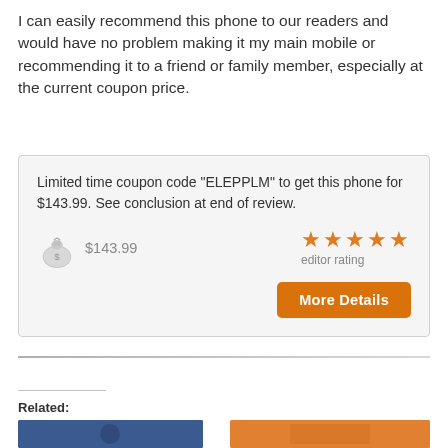I can easily recommend this phone to our readers and would have no problem making it my main mobile or recommending it to a friend or family member, especially at the current coupon price.
Limited time coupon code "ELEPPLM" to get this phone for $143.99. See conclusion at end of review.
$143.99
[Figure (infographic): Money bag icon with dollar sign]
editor rating
More Details
Related: